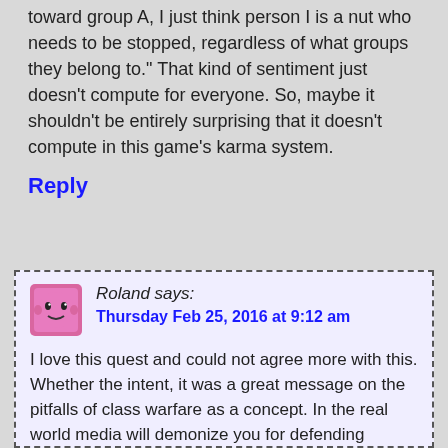toward group A, I just think person I is a nut who needs to be stopped, regardless of what groups they belong to." That kind of sentiment just doesn't compute for everyone. So, maybe it shouldn't be entirely surprising that it doesn't compute in this game's karma system.
Reply
Roland says: Thursday Feb 25, 2016 at 9:12 am
I love this quest and could not agree more with this. Whether the intent, it was a great message on the pitfalls of class warfare as a concept. In the real world media will demonize you for defending yourself against hostile invaders. Those who make a great show of being on the right side of history rarely tend to be, and this quest is a window into experiences of the so-called "privileged" who find themselves on the wrong side of public opinion.